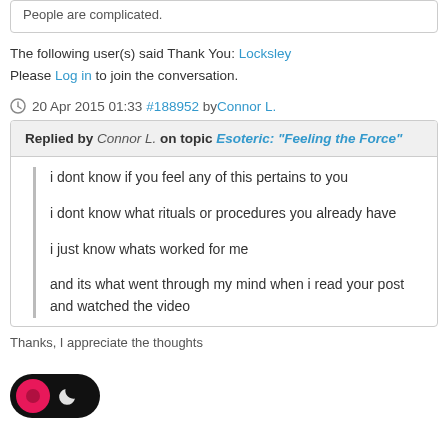People are complicated.
The following user(s) said Thank You: Locksley
Please Log in to join the conversation.
20 Apr 2015 01:33 #188952 by Connor L.
Replied by Connor L. on topic Esoteric: "Feeling the Force"
i dont know if you feel any of this pertains to you

i dont know what rituals or procedures you already have

i just know whats worked for me

and its what went through my mind when i read your post and watched the video
Thanks, I appreciate the thoughts